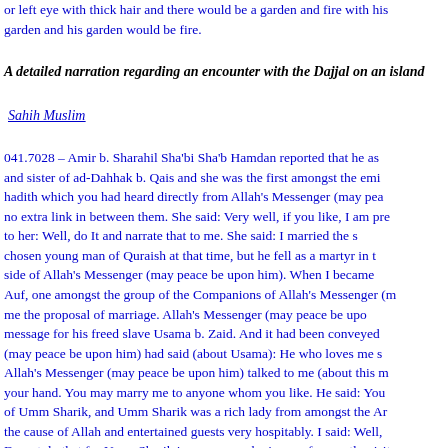or left eye with thick hair and there would be a garden and fire with his garden and his garden would be fire.
A detailed narration regarding an encounter with the Dajjal on an island
Sahih Muslim
041.7028 – Amir b. Sharahil Sha'bi Sha'b Hamdan reported that he as and sister of ad-Dahhak b. Qais and she was the first amongst the emi hadith which you had heard directly from Allah's Messenger (may pea no extra link in between them. She said: Very well, if you like, I am pre to her: Well, do It and narrate that to me. She said: I married the s chosen young man of Quraish at that time, but he fell as a martyr in t side of Allah's Messenger (may peace be upon him). When I became Auf, one amongst the group of the Companions of Allah's Messenger (m me the proposal of marriage. Allah's Messenger (may peace be upo message for his freed slave Usama b. Zaid. And it had been conveyed (may peace be upon him) had said (about Usama): He who loves me s Allah's Messenger (may peace be upon him) talked to me (about this m your hand. You may marry me to anyone whom you like. He said: You of Umm Sharik, and Umm Sharik was a rich lady from amongst the Ar the cause of Allah and entertained guests very hospitably. I said: Well, Do not do that for Umm Sharik is a woman who is very frequently visit that your head may be uncovered or the cloth may be removed from may catch sight of them which you abhor. You better shift to the hous